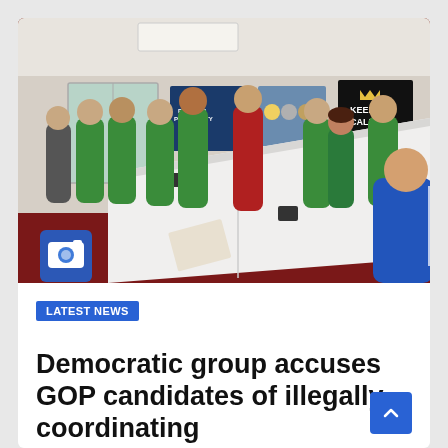[Figure (photo): Indoor meeting room scene with a group of people, mostly wearing green polo shirts, standing around a long white conference table. A person in a blue shirt is in the foreground on the right, speaking or presenting. A person in a red shirt stands in the center background. Posters on the walls including a 'Keep Calm' poster. A camera icon badge is visible in the lower left of the photo.]
LATEST NEWS
Democratic group accuses GOP candidates of illegally coordinating